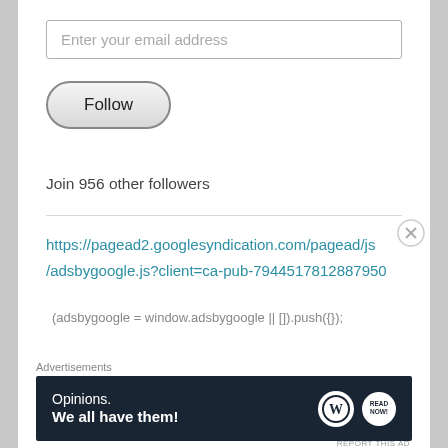Enter your email address
Follow
Join 956 other followers
https://pagead2.googlesyndication.com/pagead/js/adsbygoogle.js?client=ca-pub-7944517812887950
(adsbygoogle = window.adsbygoogle || []).push({});
Advertisements
[Figure (screenshot): WordPress advertisement banner: 'Opinions. We all have them!' with WordPress and Now logos on dark navy background]